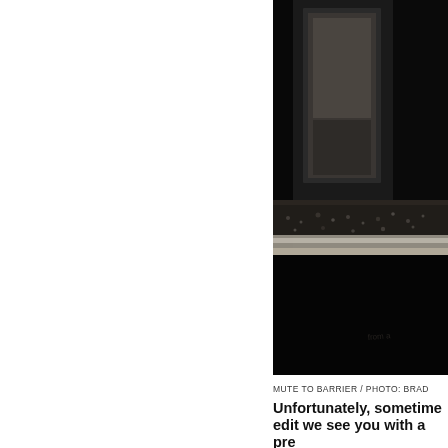[Figure (photo): Dark moody black and white photograph showing a concrete barrier or ledge at ground level, with a dark background featuring what appears to be a window or door frame. The ground shows textured concrete and some debris.]
MUTE TO BARRIER / PHOTO: BRAD
Unfortunately, sometimes in the edit we see you with a pre-existing happen and do those freaking certain tricks?
That was so stupid! We Beach in San Diego, and because I was tired. But was shaped like a bump background. I wanted to